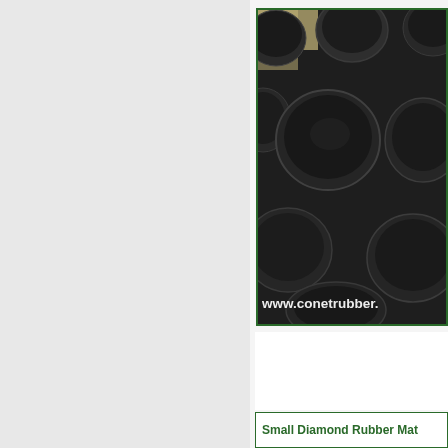[Figure (photo): Close-up photograph of a black rubber mat with raised round coin/disc pattern (coin rubber mat / button stud mat). The bumps are large, flat-topped circular studs arranged in a grid pattern on a dark background. A white watermark reads 'www.conetrubber.' partially visible at the bottom of the image.]
Small Diamond Rubber Mat